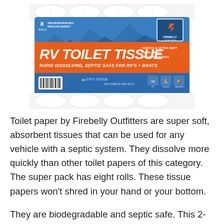[Figure (photo): Package of Firebelly Outfitters RV Toilet Tissue, 8 rolls, showing blue and orange packaging with toilet roll cylinders visible above and below the box. Text on package: RV TOILET TISSUE, RAPID DISSOLVING, SEPTIC SAFE FOR RV'S + BOATS, GENTLE & ULTRA SOFT, PURE WHITE, NO FRAGRANCES, 2-PLY TISSUE.]
Toilet paper by Firebelly Outfitters are super soft, absorbent tissues that can be used for any vehicle with a septic system. They dissolve more quickly than other toilet papers of this category. The super pack has eight rolls. These tissue papers won't shred in your hand or your bottom.
They are biodegradable and septic safe. This 2-ply